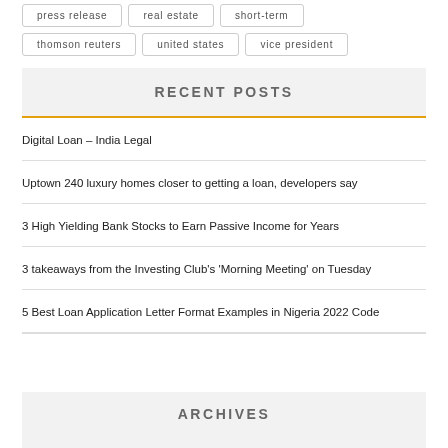press release
real estate
short-term
thomson reuters
united states
vice president
RECENT POSTS
Digital Loan – India Legal
Uptown 240 luxury homes closer to getting a loan, developers say
3 High Yielding Bank Stocks to Earn Passive Income for Years
3 takeaways from the Investing Club's 'Morning Meeting' on Tuesday
5 Best Loan Application Letter Format Examples in Nigeria 2022 Code
ARCHIVES